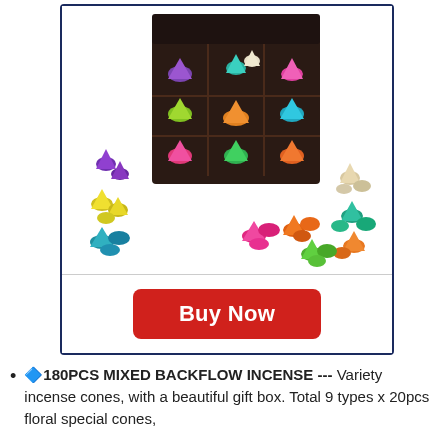[Figure (photo): A dark gift box containing multiple compartments filled with colorful backflow incense cones in various colors (purple, yellow, teal, orange, pink, green, etc.), with additional loose cones arranged around the box on a white background.]
Buy Now
🔷180PCS MIXED BACKFLOW INCENSE --- Variety incense cones, with a beautiful gift box. Total 9 types x 20pcs floral special cones,